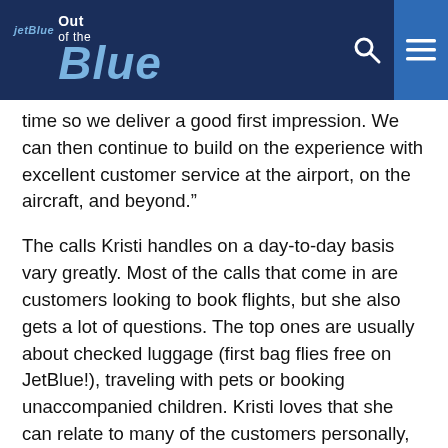jetBlue Out of the Blue
time so we deliver a good first impression. We can then continue to build on the experience with excellent customer service at the airport, on the aircraft, and beyond.”
The calls Kristi handles on a day-to-day basis vary greatly. Most of the calls that come in are customers looking to book flights, but she also gets a lot of questions. The top ones are usually about checked luggage (first bag flies free on JetBlue!), traveling with pets or booking unaccompanied children. Kristi loves that she can relate to many of the customers personally, having traveled with her kids and with her mini dachshund.
One of Kristi’s favorite calls? A big celebrity called JetBlue and reached Kristi wanting to reserve the entire plane but not wanting to pay for it. Kristi politely relayed that she’d be happy to help her reserve as many seats as possible for the